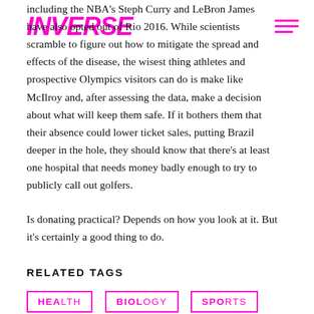INVERSE
including the NBA's Steph Curry and LeBron James have also opted out of Rio 2016. While scientists scramble to figure out how to mitigate the spread and effects of the disease, the wisest thing athletes and prospective Olympics visitors can do is make like McIlroy and, after assessing the data, make a decision about what will keep them safe. If it bothers them that their absence could lower ticket sales, putting Brazil deeper in the hole, they should know that there's at least one hospital that needs money badly enough to try to publicly call out golfers.
Is donating practical? Depends on how you look at it. But it's certainly a good thing to do.
RELATED TAGS
HEALTH
BIOLOGY
SPORTS